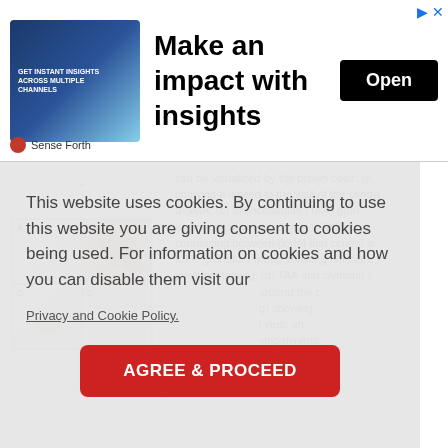[Figure (screenshot): Advertisement banner: 'Make an impact with insights' with Open button, showing a woman with digital icons, branded by Sense Forth]
[Figure (photo): Microscopy image divided into quadrants (A, B, C, D) showing immunohistochemical staining for alpha-SMA in liver tissue sections]
can be visualized by the brown color: (a) showing a limited to the wall of the central a-SMA; (b) thioacetamide (TAA) group immunopositive reaction of a-SMA in connecting between portal and central ar (c) P. granatum group showing normal ex positive staining; (d) TAA and slymarin s around the c g) showing l vein; an ving minima both muscle
This website uses cookies. By continuing to use this website you are giving consent to cookies being used. For information on cookies and how you can disable them visit our
Privacy and Cookie Policy.
AGREE & PROCEED